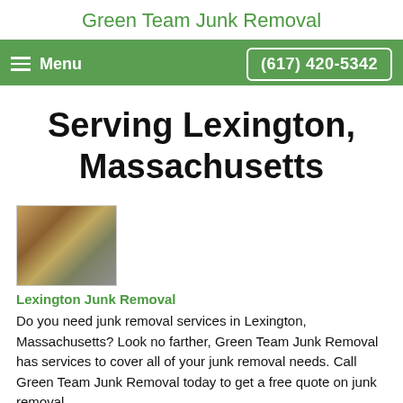Green Team Junk Removal
Menu  (617) 420-5342
Serving Lexington, Massachusetts
[Figure (photo): Small thumbnail photo of junk items including canisters and boxes]
Lexington Junk Removal
Do you need junk removal services in Lexington, Massachusetts? Look no farther, Green Team Junk Removal has services to cover all of your junk removal needs. Call Green Team Junk Removal today to get a free quote on junk removal.